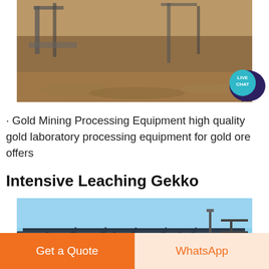[Figure (photo): Mining excavation site with heavy machinery and sandy terrain, partially cropped at top]
[Figure (infographic): Live Chat bubble icon — dark blue speech bubble with teal circular badge saying LIVE CHAT in white text]
· Gold Mining Processing Equipment high quality gold laboratory processing equipment for gold ore offers
Intensive Leaching Gekko
[Figure (photo): Industrial conveyor belt structure against a blue sky at a mining facility, partially cropped at bottom]
Get a Quote
WhatsApp